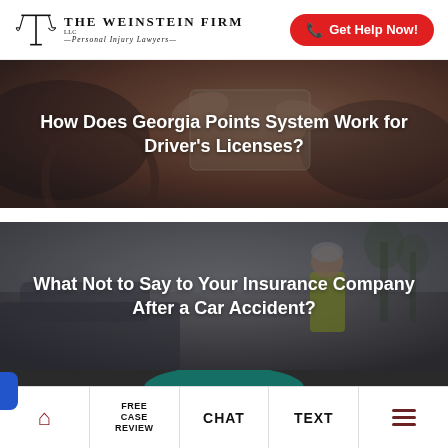The Weinstein Firm LLC — Personal Injury Lawyers | Get Help Now!
[Figure (photo): Person holding a driver's license inside a car, with steering wheel visible, warm tones]
How Does Georgia Points System Work for Driver's Licenses?
[Figure (photo): Man in yellow safety vest at a car accident scene outdoors, grey tones]
What Not to Say to Your Insurance Company After a Car Accident?
[Figure (photo): Partial view of a dark-themed banner or card at bottom]
Home | Free Case Review | Chat | Text | Menu